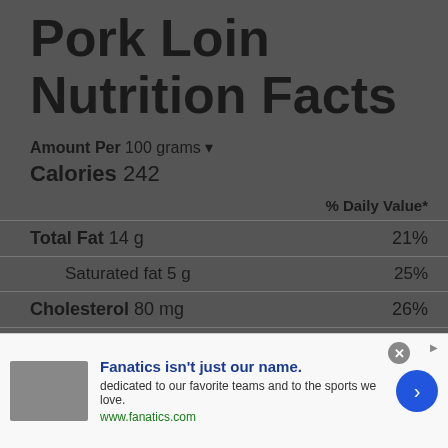Pork Loin Nutrition Facts
Amount Per 100 grams
Calories 242
| Nutrient | Amount | % Daily Value* |
| --- | --- | --- |
| Total Fat | 14 g | 21% |
| Saturated fat | 5 g | 25% |
| Cholesterol | 80 mg | 26% |
| Sodium | 62 mg | 2% |
| Potassium | 423 mg | 12% |